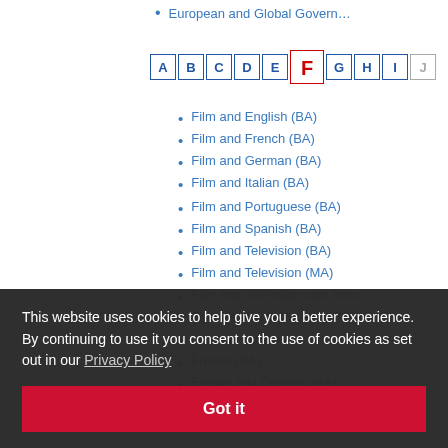European and Global Govern…
[Figure (other): Alphabet navigation bar with letters A B C D E F G H I J, where F is highlighted in red/bold as current selection]
Film and English (BA)
Film and French (BA)
Film and German (BA)
Film and Italian (BA)
Film and Portuguese (BA)
Film and Spanish (BA)
Film and Television (BA)
Film and Television (MA)
Film and Television with Inno…
Finance and Investment (MS…
…r in the Arts a…
French (BA)
French and German (BA)
French and Italian (BA)
This website uses cookies to help give you a better experience. By continuing to use it you consent to the use of cookies as set out in our Privacy Policy
Got it